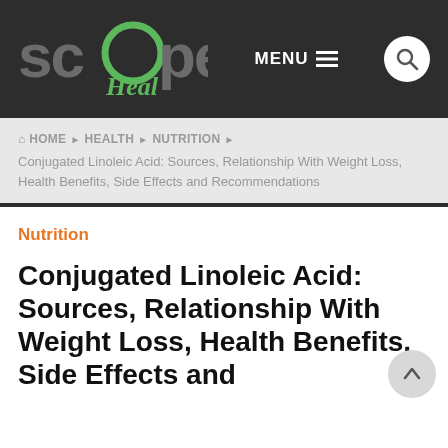Scope Heal — MENU — Search
HOME › HEALTH › NUTRITION › Conjugated Linoleic Acid: Sources, Relationship With Weight Loss, Health Benefits, Side Effects and Recommendations
Nutrition
Conjugated Linoleic Acid: Sources, Relationship With Weight Loss, Health Benefits, Side Effects and Recommendations